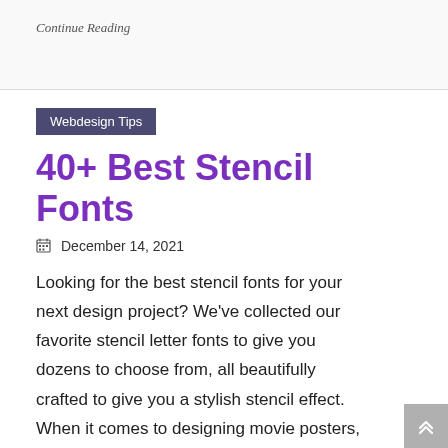Continue Reading
Webdesign Tips
40+ Best Stencil Fonts
December 14, 2021
Looking for the best stencil fonts for your next design project? We've collected our favorite stencil letter fonts to give you dozens to choose from, all beautifully crafted to give you a stylish stencil effect. When it comes to designing movie posters, video game covers, and military and industrial-themed designs,